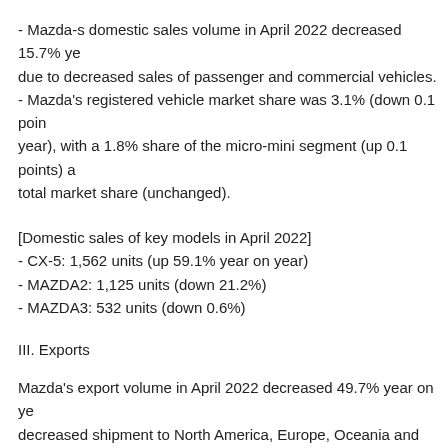- Mazda-s domestic sales volume in April 2022 decreased 15.7% year on year due to decreased sales of passenger and commercial vehicles.
- Mazda's registered vehicle market share was 3.1% (down 0.1 points year on year), with a 1.8% share of the micro-mini segment (up 0.1 points) and total market share (unchanged).
[Domestic sales of key models in April 2022]
- CX-5: 1,562 units (up 59.1% year on year)
- MAZDA2: 1,125 units (down 21.2%)
- MAZDA3: 532 units (down 0.6%)
III. Exports
Mazda's export volume in April 2022 decreased 49.7% year on year due to decreased shipment to North America, Europe, Oceania and other regions.
[Exports of key models in April 2022]